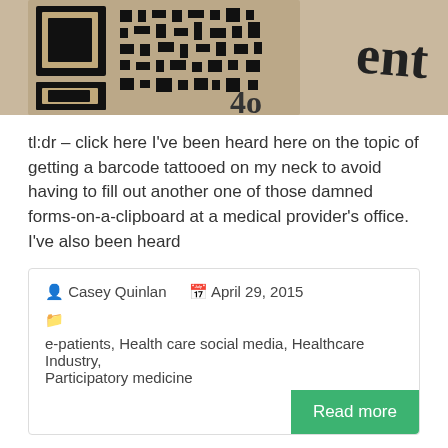[Figure (photo): Close-up photo of a QR code tattoo on skin, with partial text visible on the right side reading 'ent' and numbers below.]
tl:dr – click here I've been heard here on the topic of getting a barcode tattooed on my neck to avoid having to fill out another one of those damned forms-on-a-clipboard at a medical provider's office. I've also been heard
Casey Quinlan   April 29, 2015
e-patients, Health care social media, Healthcare Industry, Participatory medicine
Read more
Calling all cancer warriors!
The next excerpt line partially visible at the bottom.